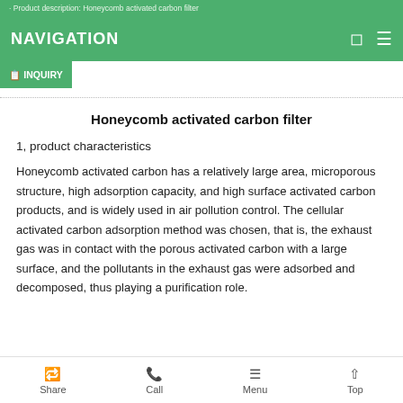Product description: Honeycomb activated carbon filter
NAVIGATION | INQUIRY
Honeycomb activated carbon filter
1, product characteristics
Honeycomb activated carbon has a relatively large area, microporous structure, high adsorption capacity, and high surface activated carbon products, and is widely used in air pollution control. The cellular activated carbon adsorption method was chosen, that is, the exhaust gas was in contact with the porous activated carbon with a large surface, and the pollutants in the exhaust gas were adsorbed and decomposed, thus playing a purification role.
Share | Call | Menu | Top